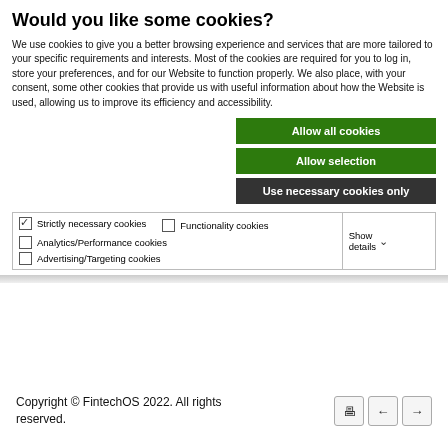Would you like some cookies?
We use cookies to give you a better browsing experience and services that are more tailored to your specific requirements and interests. Most of the cookies are required for you to log in, store your preferences, and for our Website to function properly. We also place, with your consent, some other cookies that provide us with useful information about how the Website is used, allowing us to improve its efficiency and accessibility.
Allow all cookies
Allow selection
Use necessary cookies only
| Cookie types | Action |
| --- | --- |
| ✓ Strictly necessary cookies   ☐ Functionality cookies | Show details ∨ |
| ☐ Analytics/Performance cookies |  |
| ☐ Advertising/Targeting cookies |  |
Copyright © FintechOS 2022. All rights reserved.